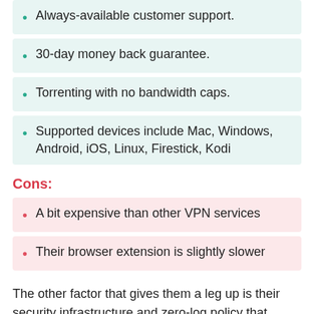Always-available customer support.
30-day money back guarantee.
Torrenting with no bandwidth caps.
Supported devices include Mac, Windows, Android, iOS, Linux, Firestick, Kodi
Cons:
A bit expensive than other VPN services
Their browser extension is slightly slower
The other factor that gives them a leg up is their security infrastructure and zero-log policy that